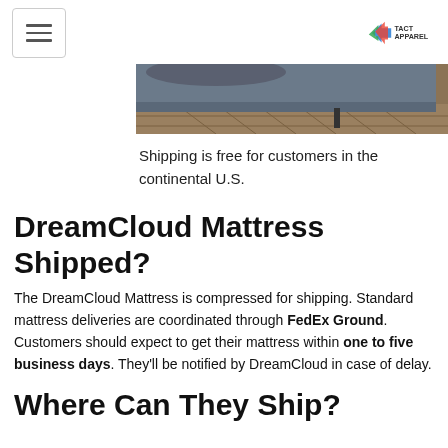[hamburger menu] [TACT APPAREL logo]
[Figure (photo): Partial view of a mattress on a wooden herringbone floor, showing the mattress edge and a pillow on top]
Shipping is free for customers in the continental U.S.
DreamCloud Mattress Shipped?
The DreamCloud Mattress is compressed for shipping. Standard mattress deliveries are coordinated through FedEx Ground. Customers should expect to get their mattress within one to five business days. They'll be notified by DreamCloud in case of delay.
Where Can They Ship?